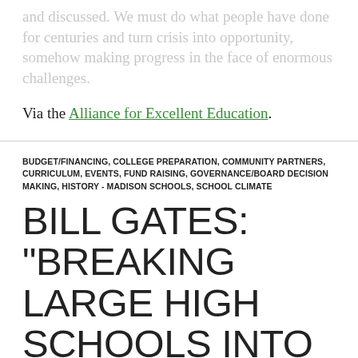and discussed. We must do what people have done for centuries and turn crisis into opportunity, somehow making progress in the face of enormous challenges.
Via the Alliance for Excellent Education.
BUDGET/FINANCING, COLLEGE PREPARATION, COMMUNITY PARTNERS, CURRICULUM, EVENTS, FUND RAISING, GOVERNANCE/BOARD DECISION MAKING, HISTORY - MADISON SCHOOLS, SCHOOL CLIMATE
BILL GATES: “BREAKING LARGE HIGH SCHOOLS INTO SMALLER UNITS, ON ITS OWN GUARANTEED NO